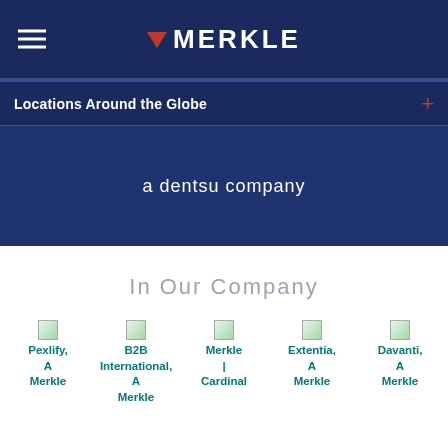MERKLE
Locations Around the Globe
a dentsu company
In Our Company
Pexlify, A Merkle
B2B International, A Merkle
Merkle | Cardinal
Extentia, A Merkle
Davanti, A Merkle